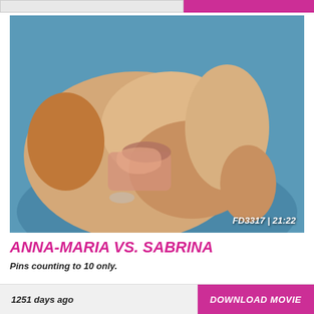[Figure (photo): Two female wrestlers grappling on a blue mat. One wearing a multicolored bikini bottom. Video ID and duration overlay visible.]
ANNA-MARIA VS. SABRINA
Pins counting to 10 only.
1251 days ago   DOWNLOAD MOVIE